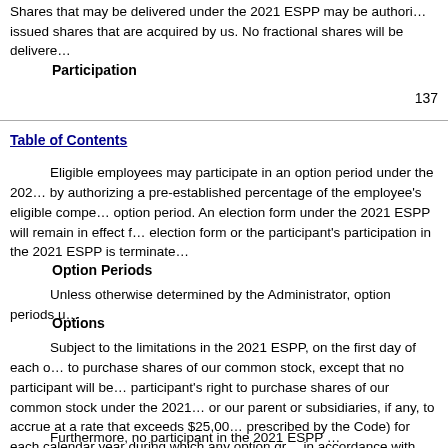Shares that may be delivered under the 2021 ESPP may be authorized but unissued shares that are acquired by us. No fractional shares will be delivered
Participation
137
Table of Contents
Eligible employees may participate in an option period under the 2021 ESPP by authorizing a pre-established percentage of the employee's eligible compensation for each option period. An election form under the 2021 ESPP will remain in effect for until the election form or the participant's participation in the 2021 ESPP is terminated
Option Periods
Unless otherwise determined by the Administrator, option periods un
Options
Subject to the limitations in the 2021 ESPP, on the first day of each option period, each eligible employee who has elected to participate will be granted an option to purchase shares of our common stock, except that no participant will be granted an option if such grant would cause the participant's right to purchase shares of our common stock under the 2021 ESPP and under all other employee stock purchase plans of us or our parent or subsidiaries, if any, to accrue at a rate that exceeds $25,000 of fair market value of common stock (determined as prescribed by the Code) for each calendar year during which any option granted under the 2021 ESPP is outstanding in accordance with Section 423 of the Code.
Furthermore, no participant in the 2021 ESPP...